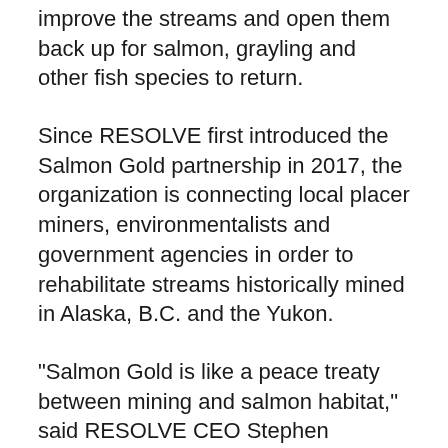improve the streams and open them back up for salmon, grayling and other fish species to return.
Since RESOLVE first introduced the Salmon Gold partnership in 2017, the organization is connecting local placer miners, environmentalists and government agencies in order to rehabilitate streams historically mined in Alaska, B.C. and the Yukon.
"Salmon Gold is like a peace treaty between mining and salmon habitat," said RESOLVE CEO Stephen D'Esposit. "It's a place where the three sectors can work together – the restoration community, First Nations and the mining industry."
Apple, which uses small amounts of gold in electronic components throughout its line of high-tech products, and global luxury jeweler Tiffany & Co. will source gold from placer miners who have committed to restore and improve the land they're operating on when they're